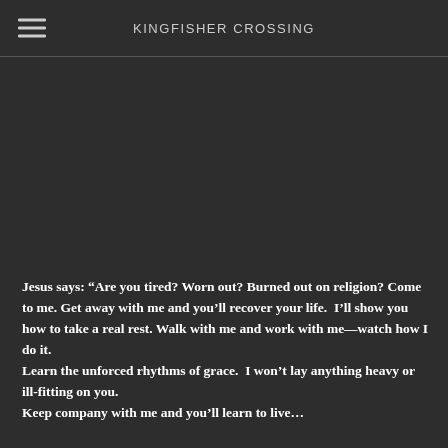KINGFISHER CROSSING
Jesus says: “Are you tired? Worn out? Burned out on religion? Come to me. Get away with me and you’ll recover your life.  I’ll show you how to take a real rest. Walk with me and work with me—watch how I do it.
Learn the unforced rhythms of grace.  I won’t lay anything heavy or ill-fitting on you.
Keep company with me and you’ll learn to live…